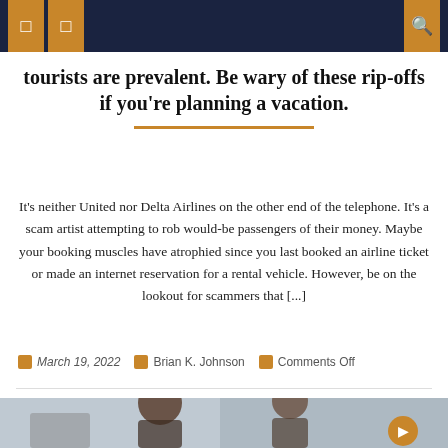tourists are prevalent. Be wary of these rip-offs if you're planning a vacation.
It's neither United nor Delta Airlines on the other end of the telephone. It's a scam artist attempting to rob would-be passengers of their money. Maybe your booking muscles have atrophied since you last booked an airline ticket or made an internet reservation for a rental vehicle. However, be on the lookout for scammers that [...]
March 19, 2022   Brian K. Johnson   Comments Off
[Figure (photo): Two people sitting at a desk, viewed from behind, looking at a monitor. Office or workplace setting.]